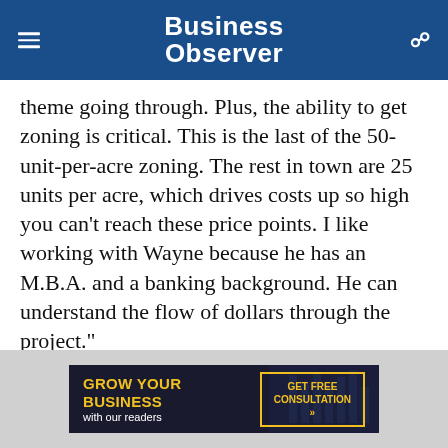Business Observer
theme going through. Plus, the ability to get zoning is critical. This is the last of the 50-unit-per-acre zoning. The rest in town are 25 units per acre, which drives costs up so high you can't reach these price points. I like working with Wayne because he has an M.B.A. and a banking background. He can understand the flow of dollars through the project."
Andrews adds: "The symphony accelerated this a
[Figure (infographic): Advertisement banner: 'GROW YOUR BUSINESS with our readers' with a 'GET FREE CONSULTATION »' button, dark background with blue city imagery, yellow text and border.]